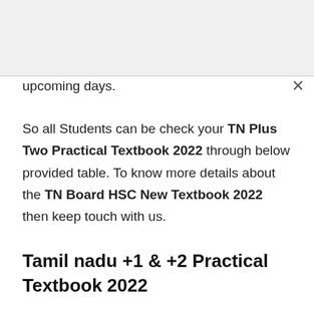upcoming days.
So all Students can be check your TN Plus Two Practical Textbook 2022 through below provided table. To know more details about the TN Board HSC New Textbook 2022 then keep touch with us.
Tamil nadu +1 & +2 Practical Textbook 2022